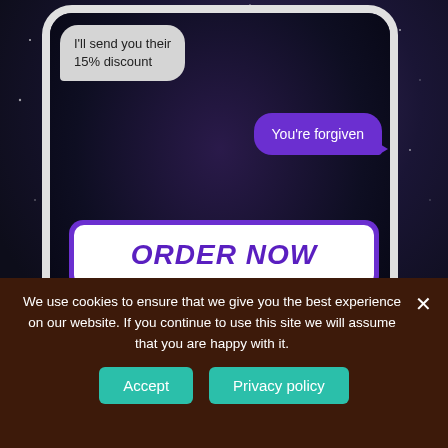[Figure (screenshot): Screenshot of a smartphone displaying a text message conversation with a bubble saying 'I'll send you their 15% discount' and a reply bubble 'You're forgiven', with an 'ORDER NOW' button and 'WITH 15% OFF' text overlaid on a galaxy/starry background.]
We use cookies to ensure that we give you the best experience on our website. If you continue to use this site we will assume that you are happy with it.
Accept
Privacy policy